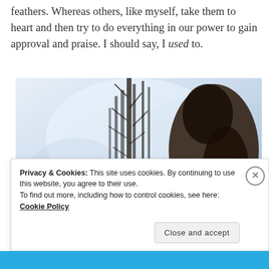feathers. Whereas others, like myself, take them to heart and then try to do everything in our power to gain approval and praise. I should say, I used to.
[Figure (photo): A woman's silhouette in profile holding a dried floral bouquet against a bright white/light blue background. Her face and figure are partially backlit.]
Privacy & Cookies: This site uses cookies. By continuing to use this website, you agree to their use.
To find out more, including how to control cookies, see here: Cookie Policy
Close and accept